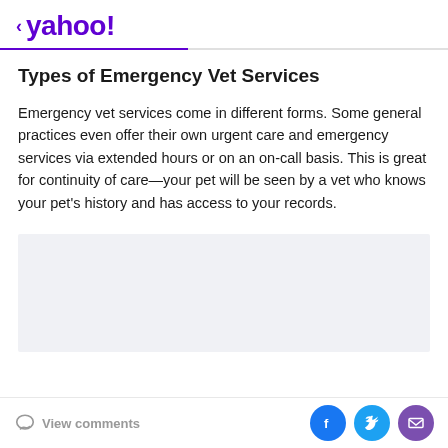< yahoo!
Types of Emergency Vet Services
Emergency vet services come in different forms. Some general practices even offer their own urgent care and emergency services via extended hours or on an on-call basis. This is great for continuity of care—your pet will be seen by a vet who knows your pet's history and has access to your records.
[Figure (other): Gray advertisement block placeholder]
View comments | Share on Facebook, Twitter, Email